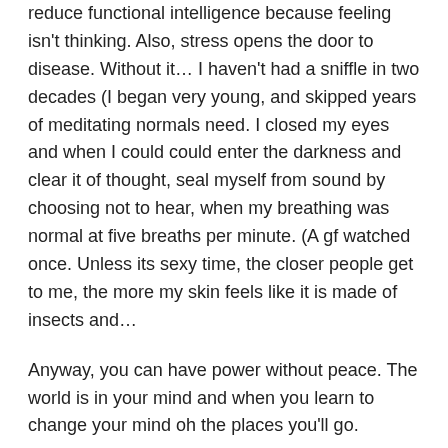reduce functional intelligence because feeling isn't thinking. Also, stress opens the door to disease. Without it… I haven't had a sniffle in two decades (I began very young, and skipped years of meditating normals need. I closed my eyes and when I could could enter the darkness and clear it of thought, seal myself from sound by choosing not to hear, when my breathing was normal at five breaths per minute. (A gf watched once. Unless its sexy time, the closer people get to me, the more my skin feels like it is made of insects and…
Anyway, you can have power without peace. The world is in your mind and when you learn to change your mind oh the places you'll go.
This piece is the first I've read and it's fantastic